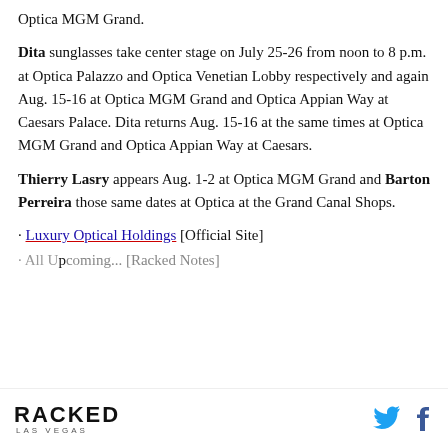Optica MGM Grand.
Dita sunglasses take center stage on July 25-26 from noon to 8 p.m. at Optica Palazzo and Optica Venetian Lobby respectively and again Aug. 15-16 at Optica MGM Grand and Optica Appian Way at Caesars Palace. Dita returns Aug. 15-16 at the same times at Optica MGM Grand and Optica Appian Way at Caesars.
Thierry Lasry appears Aug. 1-2 at Optica MGM Grand and Barton Perreira those same dates at Optica at the Grand Canal Shops.
· Luxury Optical Holdings [Official Site]
· All Upcoming... [Racked Notes]
RACKED LAS VEGAS